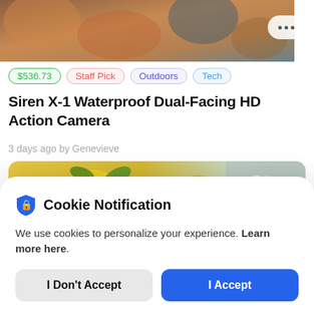[Figure (photo): Top portion of a mobile app product listing page, showing a partial product image (food/camera scene) at the top with a blurred colorful background]
$536.73  Staff Pick  Outdoors  Tech
Siren X-1 Waterproof Dual-Facing HD Action Camera
3 days ago by Genevieve
[Figure (photo): A second product card thumbnail showing lemons and limes on a grey surface with a shopping cart icon overlay and a shiny metal object on the right]
Cookie Notification
We use cookies to personalize your experience. Learn more here.
I Don't Accept  I Accept